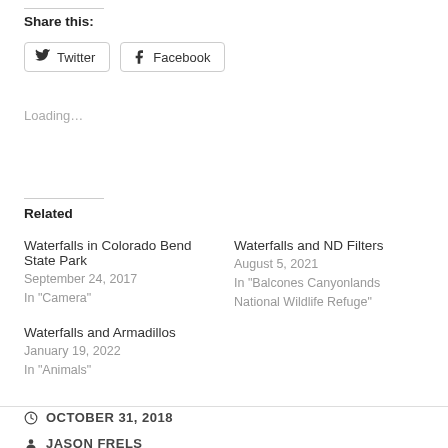Share this:
Twitter
Facebook
Loading...
Related
Waterfalls in Colorado Bend State Park
September 24, 2017
In "Camera"
Waterfalls and ND Filters
August 5, 2021
In "Balcones Canyonlands National Wildlife Refuge"
Waterfalls and Armadillos
January 19, 2022
In "Animals"
OCTOBER 31, 2018
JASON FRELS